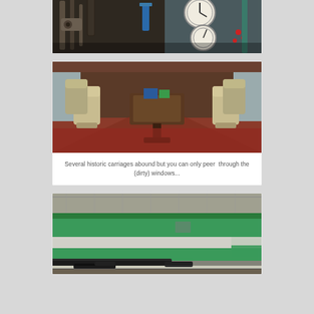[Figure (photo): Interior of a train locomotive cab with gauges, pipes, valves and control equipment visible. A pressure gauge is prominent on the right side.]
[Figure (photo): Interior of a historic railway carriage showing rows of cream/beige armchairs arranged around a central table, with windows on both sides and dark wood paneling.]
Several historic carriages abound but you can only peer  through the (dirty) windows...
[Figure (photo): Exterior side view of a green and white/grey train carriage parked inside a railway shed or museum building, viewed from a low angle showing the undercarriage.]